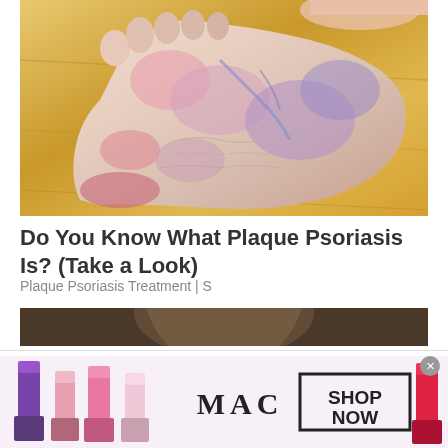[Figure (photo): Close-up photo of a human foot/ankle showing discolored skin with pink, blue, and purple patches indicative of plaque psoriasis, against a wooden floor background]
Do You Know What Plaque Psoriasis Is? (Take a Look)
Plaque Psoriasis Treatment | S
[Figure (photo): Partial view of a second image (cropped), appears to show a round object on a dark background]
By clicking “Accept All Cookies”, you agree to the storing of cookies on your device to enhance site navigation, analyze site usage, and assist in our marketing efforts.
[Figure (photo): Advertisement banner showing MAC cosmetics lipsticks in purple, pink, and red colors with MAC logo and SHOP NOW button]